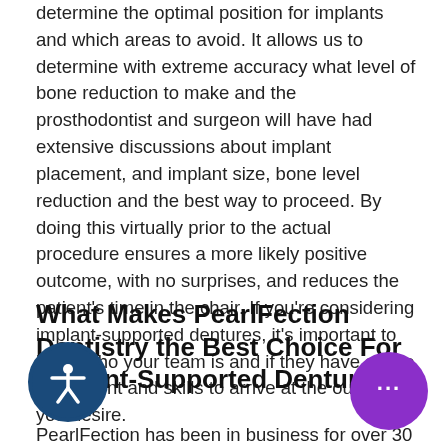determine the optimal position for implants and which areas to avoid. It allows us to determine with extreme accuracy what level of bone reduction to make and the prosthodontist and surgeon will have had extensive discussions about implant placement, and implant size, bone level reduction and the best way to proceed. By doing this virtually prior to the actual procedure ensures a more likely positive outcome, with no surprises, and reduces the patient's time in the chair. If you're considering implant-supported dentures, it's important to know who your team is and if they have all the equipment and skills to arrive at the outcome you desire.
What Makes PearlFection Dentistry the Best Choice For Implant-Supported Dentures?
PearlFection has been in business for over 30 years.